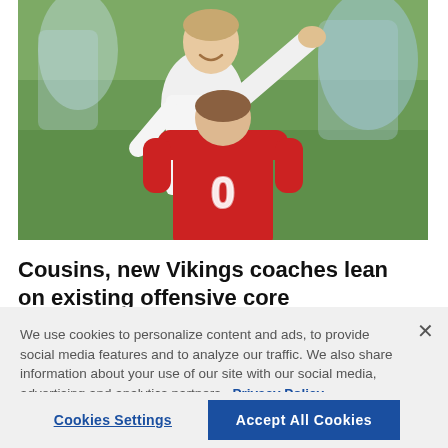[Figure (photo): A football coach in a white long-sleeve shirt gesturing/pointing while talking to a player wearing a red jersey with number 0, photographed from behind. Green field/stadium background.]
Cousins, new Vikings coaches lean on existing offensive core
We use cookies to personalize content and ads, to provide social media features and to analyze our traffic. We also share information about your use of our site with our social media, advertising and analytics partners. Privacy Policy
Cookies Settings    Accept All Cookies